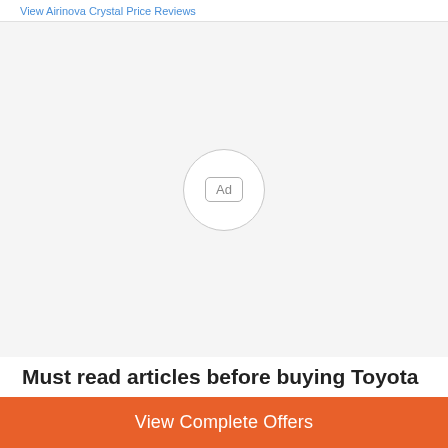View Airinova Crystal Price Reviews
[Figure (other): Advertisement placeholder area with a circular 'Ad' badge in the center on a light grey background]
Must read articles before buying Toyota
View Complete Offers